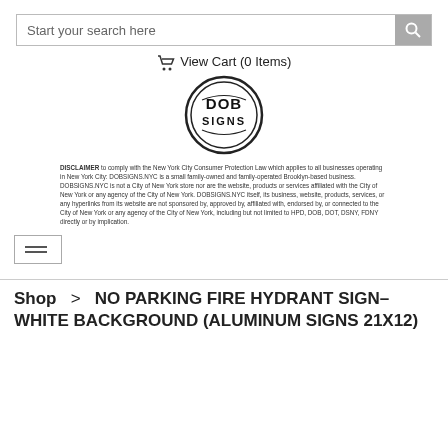Start your search here
🛒 View Cart (0 Items)
[Figure (logo): DOB SIGNS circular logo with bold text DOB SIGNS inside a double-ring circle]
DISCLAIMER to comply with the New York City Consumer Protection Law which applies to all businesses operating in New York City: DOBSIGNS.NYC is a small family-owned and family-operated Brooklyn-based business. DOBSIGNS.NYC is not a City of New York store nor are the website, products or services affiliated with the City of New York or any agency of the City of New York. DOBSIGNS.NYC itself, its business, website, products, services, or any hyperlinks from its website are not sponsored by, approved by, affiliated with, endorsed by, or connected to the City of New York or any agency of the City of New York, including but not limited to HPD, DOB, DOT, DSNY, FDNY directly or by implication.
[Figure (other): Hamburger menu button icon (three horizontal lines) inside a square border]
Shop  >  NO PARKING FIRE HYDRANT SIGN– WHITE BACKGROUND (ALUMINUM SIGNS 21X12)